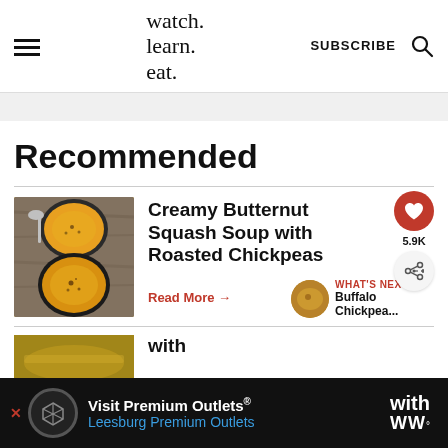watch. learn. eat.
SUBSCRIBE
Recommended
[Figure (photo): Two bowls of creamy butternut squash soup viewed from above on a wooden surface with spoons]
Creamy Butternut Squash Soup with Roasted Chickpeas
Read More →
WHAT'S NEXT → Buffalo Chickpea...
[Figure (photo): Partial view of a second food article thumbnail]
with
Visit Premium Outlets® Leesburg Premium Outlets